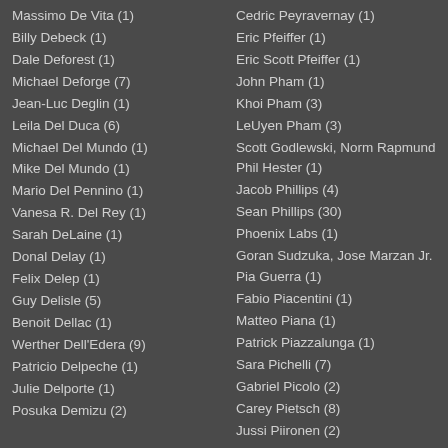Massimo De Vita (1)
Billy Debeck (1)
Dale Deforest (1)
Michael Deforge (7)
Jean-Luc Deglin (1)
Leila Del Duca (6)
Michael Del Mundo (1)
Mike Del Mundo (1)
Mario Del Pennino (1)
Vanesa R. Del Rey (1)
Sarah DeLaine (1)
Donal Delay (1)
Felix Delep (1)
Guy Delisle (5)
Benoit Dellac (1)
Werther Dell'Edera (9)
Patricio Delpeche (1)
Julie Delporte (1)
Posuka Demizu (2)
Cedric Peyravernay (1)
Eric Pfeiffer (1)
Eric Scott Pfeiffer (1)
John Pham (1)
Khoi Pham (3)
LeUyen Pham (3)
Scott Godlewski, Norm Rapmund Phil Hester (1)
Jacob Phillips (4)
Sean Phillips (30)
Phoenix Labs (1)
Goran Sudzuka, Jose Marzan Jr. Pia Guerra (1)
Fabio Piacentini (1)
Matteo Piana (1)
Patrick Piazzalunga (1)
Sara Pichelli (7)
Gabriel Picolo (2)
Carey Pietsch (8)
Jussi Piironen (2)